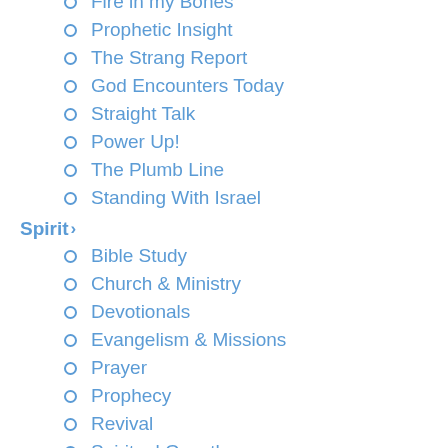Fire in my Bones
Prophetic Insight
The Strang Report
God Encounters Today
Straight Talk
Power Up!
The Plumb Line
Standing With Israel
Spirit
Bible Study
Church & Ministry
Devotionals
Evangelism & Missions
Prayer
Prophecy
Revival
Spiritual Growth
Spiritual Warfare
Supernatural
World Religions
Bible Reading Guide
Life
Business & Finance